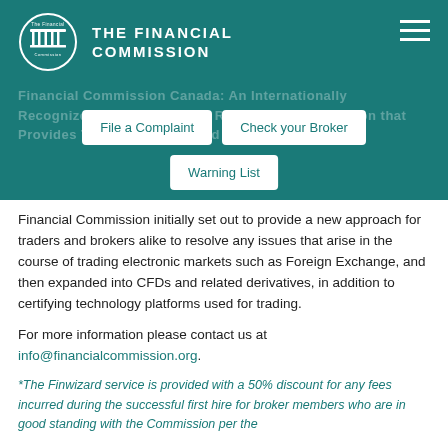THE FINANCIAL COMMISSION
[Figure (logo): The Financial Commission circular logo with pillared building icon]
File a Complaint
Check your Broker
Warning List
Financial Commission initially set out to provide a new approach for traders and brokers alike to resolve any issues that arise in the course of trading electronic markets such as Foreign Exchange, and then expanded into CFDs and related derivatives, in addition to certifying technology platforms used for trading.
For more information please contact us at info@financialcommission.org.
*The Finwizard service is provided with a 50% discount for any fees incurred during the successful first hire for broker members who are in good standing with the Commission per the